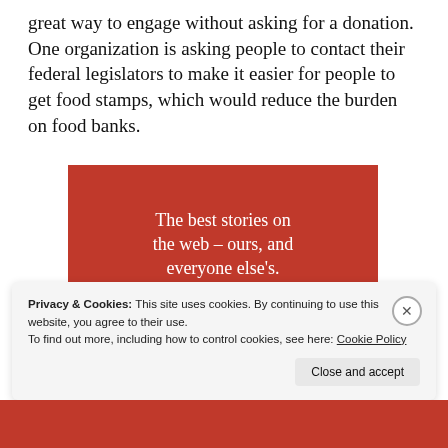great way to engage without asking for a donation. One organization is asking people to contact their federal legislators to make it easier for people to get food stamps, which would reduce the burden on food banks.
[Figure (infographic): Red advertisement banner with white serif text reading 'The best stories on the web – ours, and everyone else's.' with a black 'Start reading' button]
Privacy & Cookies: This site uses cookies. By continuing to use this website, you agree to their use. To find out more, including how to control cookies, see here: Cookie Policy